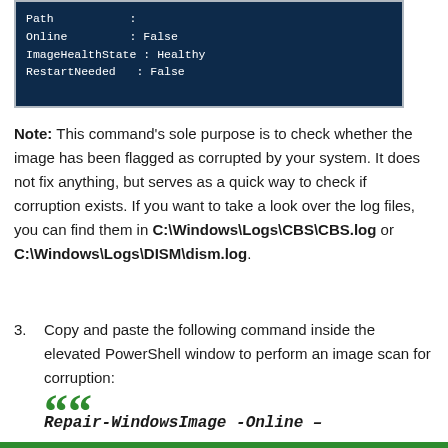[Figure (screenshot): PowerShell/terminal window showing command output: Path, Online: False, ImageHealthState: Healthy, RestartNeeded: False]
Note: This command's sole purpose is to check whether the image has been flagged as corrupted by your system. It does not fix anything, but serves as a quick way to check if corruption exists. If you want to take a look over the log files, you can find them in C:\Windows\Logs\CBS\CBS.log or C:\Windows\Logs\DISM\dism.log.
3. Copy and paste the following command inside the elevated PowerShell window to perform an image scan for corruption:
Repair-WindowsImage -Online –